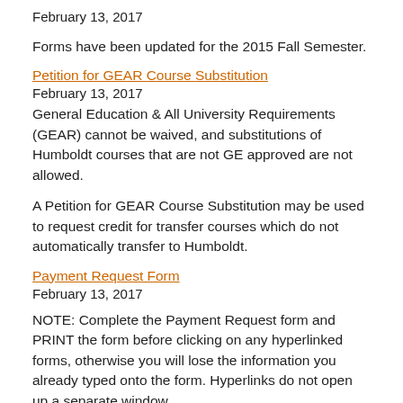February 13, 2017
Forms have been updated for the 2015 Fall Semester.
Petition for GEAR Course Substitution
February 13, 2017
General Education & All University Requirements (GEAR) cannot be waived, and substitutions of Humboldt courses that are not GE approved are not allowed.
A Petition for GEAR Course Substitution may be used to request credit for transfer courses which do not automatically transfer to Humboldt.
Payment Request Form
February 13, 2017
NOTE: Complete the Payment Request form and PRINT the form before clicking on any hyperlinked forms, otherwise you will lose the information you already typed onto the form. Hyperlinks do not open up a separate window.